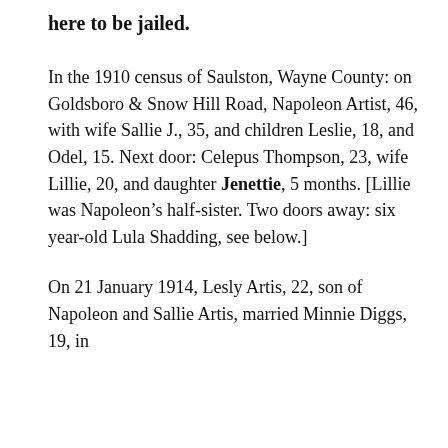here to be jailed.
In the 1910 census of Saulston, Wayne County: on Goldsboro & Snow Hill Road, Napoleon Artist, 46, with wife Sallie J., 35, and children Leslie, 18, and Odel, 15. Next door: Celepus Thompson, 23, wife Lillie, 20, and daughter Jenettie, 5 months. [Lillie was Napoleon’s half-sister. Two doors away: six year-old Lula Shadding, see below.]
On 21 January 1914, Lesly Artis, 22, son of Napoleon and Sallie Artis, married Minnie Diggs, 19, in